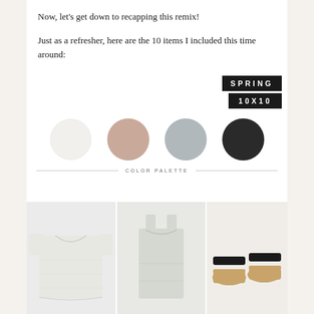Now, let’s get down to recapping this remix!
Just as a refresher, here are the 10 items I included this time around:
[Figure (infographic): Spring 10x10 badge — two black rectangular labels with white bold lettering. Top label reads SPRING, bottom label reads 10X10.]
[Figure (infographic): Color palette showing four circular swatches from left to right: white/cream, dusty pink/tan, light silver-grey, dark charcoal/black. Below the swatches is a horizontal rule with the text COLOR PALETTE centered.]
[Figure (photo): Photo of a white short-sleeve boxy linen top laid flat.]
[Figure (photo): Photo of a light grey/sage sleeveless crop tank top laid flat.]
[Figure (photo): Photo of a pair of tan and black slide sandals.]